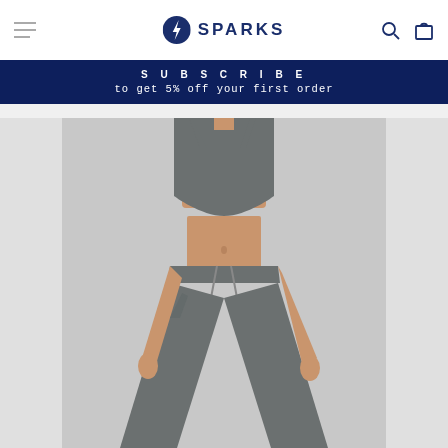SPARKS
SUBSCRIBE to get 5% off your first order
[Figure (photo): Woman wearing grey athletic crop top and grey jogger pants with drawstring waist, fitness/activewear product photo on light background]